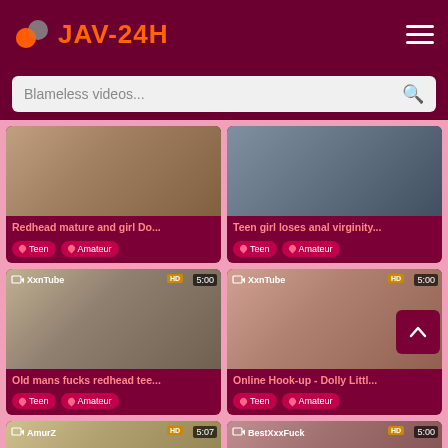JAV-24H
Blameless videos...
[Figure (screenshot): Thumbnail of redhead mature and girl video]
Redhead mature and girl Do...
Teen  Amateur
[Figure (screenshot): Thumbnail of teen girl loses anal virginity video]
Teen girl loses anal virginity...
Teen  Amateur
[Figure (screenshot): Thumbnail of old mans fucks redhead teen video, XxnTube, 5:00]
Old mans fucks redhead tee...
Teen  Amateur
[Figure (screenshot): Thumbnail of Online Hook-up Dolly Little video, XxnTube, 5:00]
Online Hook-up - Dolly Littl...
Teen  Amateur
[Figure (screenshot): Thumbnail bottom left, AmurZ, 5:07, HD]
[Figure (screenshot): Thumbnail bottom right, BestXxxFuck, 5:00, HD]